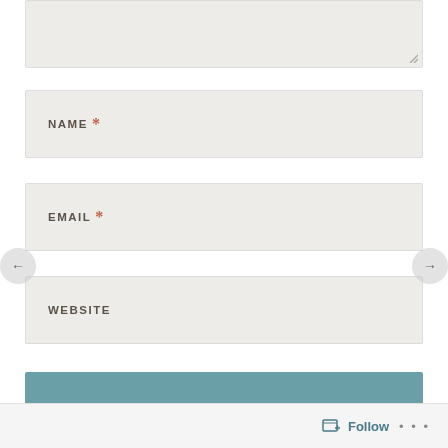[Figure (screenshot): Partial textarea input field stub at top of page with resize handle icon in bottom-right corner]
NAME *
EMAIL *
WEBSITE
POST COMMENT
Notify me of new comments via email.
[Figure (screenshot): Follow button with icon in bottom-right bar, plus ellipsis (...)]